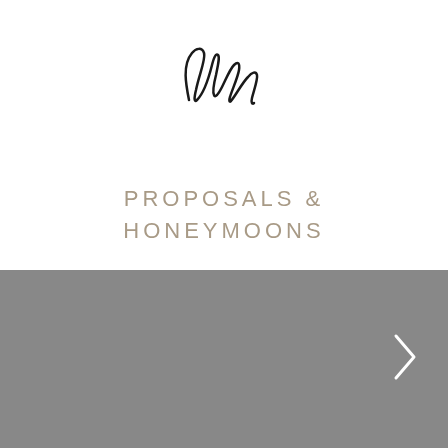[Figure (logo): Cursive script signature logo reading 'Alma']
PROPOSALS & HONEYMOONS
[Figure (photo): Large gray image placeholder with a right-pointing chevron arrow on the right side]